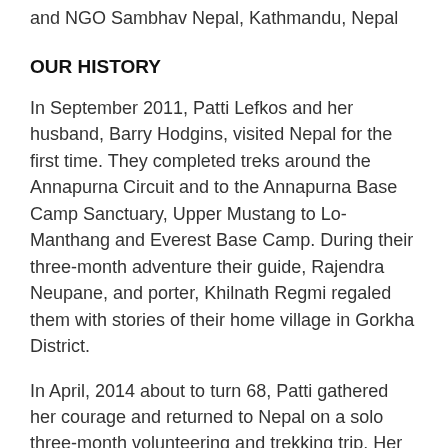and NGO Sambhav Nepal, Kathmandu, Nepal
OUR HISTORY
In September 2011, Patti Lefkos and her husband, Barry Hodgins, visited Nepal for the first time. They completed treks around the Annapurna Circuit and to the Annapurna Base Camp Sanctuary, Upper Mustang to Lo-Manthang and Everest Base Camp. During their three-month adventure their guide, Rajendra Neupane, and porter, Khilnath Regmi regaled them with stories of their home village in Gorkha District.
In April, 2014 about to turn 68, Patti gathered her courage and returned to Nepal on a solo three-month volunteering and trekking trip. Her journey began with a two-week volunteering stint in Raj and Khil's village at Bhairabi Primary School in remote Ratmate, a small subsistence farming village near Arughat, a seven hour